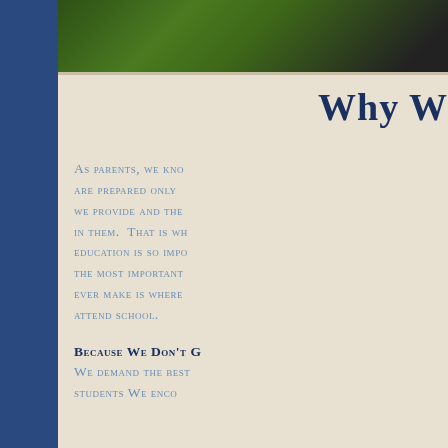[Figure (photo): Aerial or ground-level photo of a school campus with green grass and dark road/path]
Why W
As parents, we kno are prepared only we provide and the in them. That is wh education is so impo the most important ever make is where attend school.
Because We Don't G
We demand the best students We enco